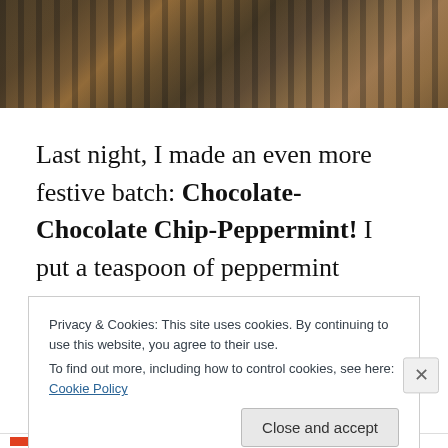[Figure (photo): Partial photo of chocolate cookies or baked goods on a dark background, visible at the top of the page]
Last night, I made an even more festive batch: Chocolate-Chocolate Chip-Peppermint! I put a teaspoon of peppermint extract in them along with 3/4 cup of candy cane bits.  I also made these ones smaller then the ones above: I measured the dough out with a tablespoon, and
Privacy & Cookies: This site uses cookies. By continuing to use this website, you agree to their use.
To find out more, including how to control cookies, see here: Cookie Policy
Close and accept